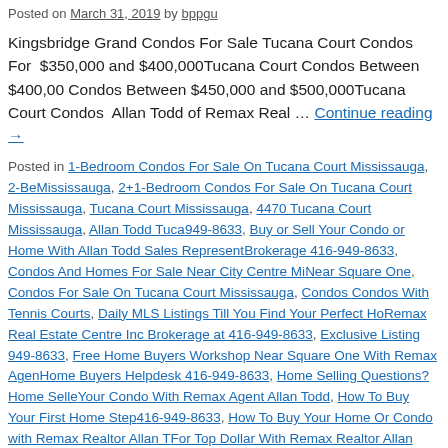Posted on March 31, 2019 by bppgu
Kingsbridge Grand Condos For Sale Tucana Court Condos For $350,000 and $400,000Tucana Court Condos Between $400,000 Condos Between $450,000 and $500,000Tucana Court Condos Allan Todd of Remax Real … Continue reading →
Posted in 1-Bedroom Condos For Sale On Tucana Court Mississauga, 2-Bed Mississauga, 2+1-Bedroom Condos For Sale On Tucana Court Mississauga, Tucana Court Mississauga, 4470 Tucana Court Mississauga, Allan Todd Tuca 949-8633, Buy or Sell Your Condo or Home With Allan Todd Sales Represent Brokerage 416-949-8633, Condos And Homes For Sale Near City Centre Mis Near Square One, Condos For Sale On Tucana Court Mississauga, Condos Condos With Tennis Courts, Daily MLS Listings Till You Find Your Perfect Ho Remax Real Estate Centre Inc Brokerage at 416-949-8633, Exclusive Listing 949-8633, Free Home Buyers Workshop Near Square One With Remax Agen Home Buyers Helpdesk 416-949-8633, Home Selling Questions? Home Selle Your Condo With Remax Agent Allan Todd, How To Buy Your First Home Step 416-949-8633, How To Buy Your Home Or Condo with Remax Realtor Allan T For Top Dollar With Remax Realtor Allan Todd, How To Sell Your Condo For Allan Todd 416-949-8633, Kingsbridge Grand 2 Condos at 4460 Tucana Cou Tucana Court, Kingsbridge Grand Condos at 4470 Tucana Court, Kingsbridge Court, Mississauga Condos For Sale Between $350000 and $400000, Missis and $500000, Mississauga Condos For Sale Between $500000 and $550